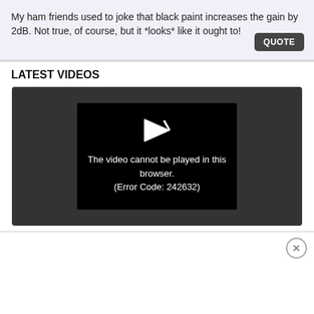My ham friends used to joke that black paint increases the gain by 2dB. Not true, of course, but it *looks* like it ought to!
LATEST VIDEOS
[Figure (screenshot): Video player showing error: The video cannot be played in this browser. (Error Code: 242632)]